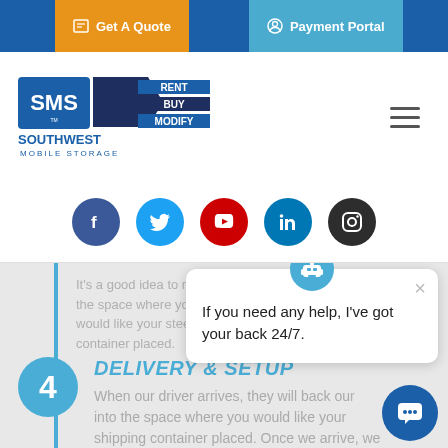Get A Quote | Payment Portal
[Figure (logo): Southwest Mobile Storage logo with SMS acronym and RENT BUY MODIFY tagline]
[Figure (infographic): Social media icons: Facebook, Twitter, YouTube, LinkedIn, Instagram]
It's a good idea to mark the space where you would like your steel container placed.
DELIVERY & SETUP
When our driver arrives, they will back our truck into the space where you would like your shipping container placed. Once we arrive, we
[Figure (screenshot): Chatbot popup: robot icon and message 'If you need any help, I've got your back 24/7.' with close button]